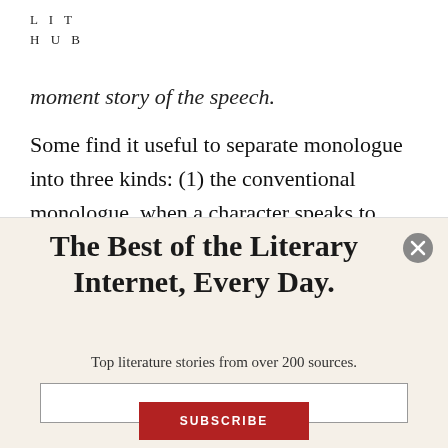LIT
HUB
moment story of the speech.
Some find it useful to separate monologue into three kinds: (1) the conventional monologue, when a character speaks to another character (even if the listener is invisible to the audience, or exists only in the speaker's imagination); (2)
The Best of the Literary Internet, Every Day.
Top literature stories from over 200 sources.
[Figure (other): Email subscription input box (empty text field)]
SUBSCRIBE